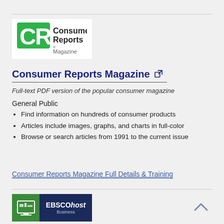[Figure (logo): Consumer Reports Magazine logo with green CR letters and black text]
Consumer Reports Magazine
Full-text PDF version of the popular consumer magazine
General Public
Find information on hundreds of consumer products
Articles include images, graphs, and charts in full-color
Browse or search articles from 1991 to the current issue
Consumer Reports Magazine Full Details & Training
[Figure (logo): EBSCOhost Business logo with green and navy blue background]